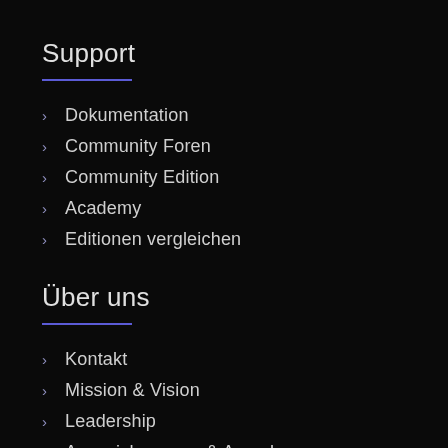Support
Dokumentation
Community Foren
Community Edition
Academy
Editionen vergleichen
Über uns
Kontakt
Mission & Vision
Leadership
Auszeichnungen & Awards